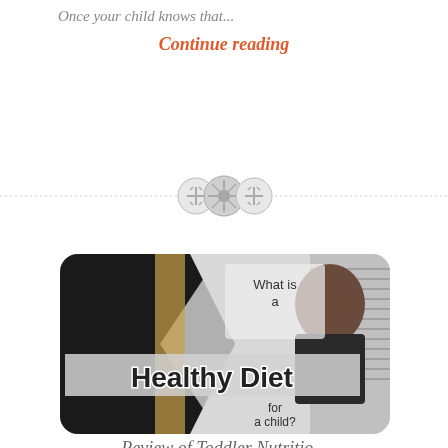Once your child knows that...
Continue reading
[Figure (other): Three button/icon decorative divider symbols in a row on a horizontal line]
[Figure (photo): Blog post thumbnail image showing a young toddler boy with text overlay reading 'What is a Healthy Diet for a child?']
Review of Toddler Nutritio...